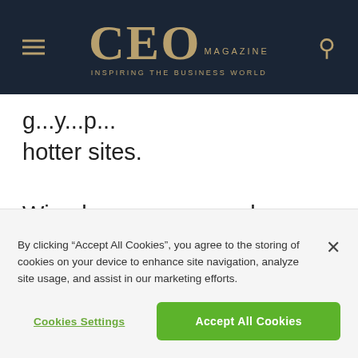CEO MAGAZINE | INSPIRING THE BUSINESS WORLD
...g...y...p... hotter sites.
Wine lovers can sample biodynamic vintages at Domaine Henri Cruchon and Domaine La Colombe, or admire the 14th-century property of Domaine Du Daley. If you can't make it to every
By clicking “Accept All Cookies”, you agree to the storing of cookies on your device to enhance site navigation, analyze site usage, and assist in our marketing efforts.
Cookies Settings
Accept All Cookies